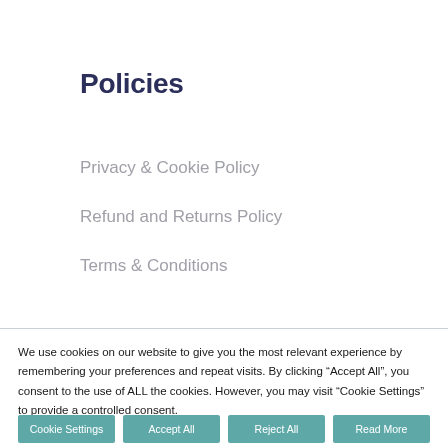Policies
Privacy & Cookie Policy
Refund and Returns Policy
Terms & Conditions
We use cookies on our website to give you the most relevant experience by remembering your preferences and repeat visits. By clicking “Accept All”, you consent to the use of ALL the cookies. However, you may visit "Cookie Settings" to provide a controlled consent.
Cookie Settings | Accept All | Reject All | Read More